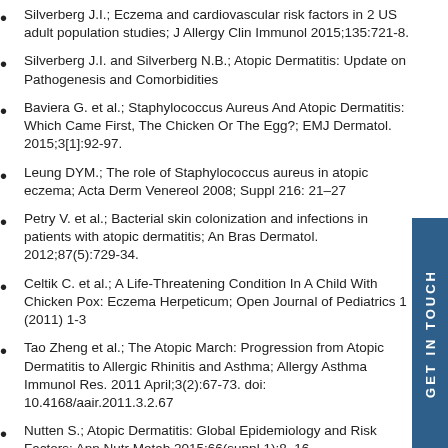Silverberg J.I.; Eczema and cardiovascular risk factors in 2 US adult population studies; J Allergy Clin Immunol 2015;135:721-8.
Silverberg J.I. and Silverberg N.B.; Atopic Dermatitis: Update on Pathogenesis and Comorbidities
Baviera G. et al.; Staphylococcus Aureus And Atopic Dermatitis: Which Came First, The Chicken Or The Egg?; EMJ Dermatol. 2015;3[1]:92-97.
Leung DYM.; The role of Staphylococcus aureus in atopic eczema; Acta Derm Venereol 2008; Suppl 216: 21–27
Petry V. et al.; Bacterial skin colonization and infections in patients with atopic dermatitis; An Bras Dermatol. 2012;87(5):729-34.
Celtik C. et al.; A Life-Threatening Condition In A Child With Chicken Pox: Eczema Herpeticum; Open Journal of Pediatrics 1 (2011) 1-3
Tao Zheng et al.; The Atopic March: Progression from Atopic Dermatitis to Allergic Rhinitis and Asthma; Allergy Asthma Immunol Res. 2011 April;3(2):67-73. doi: 10.4168/aair.2011.3.2.67
Nutten S.; Atopic Dermatitis: Global Epidemiology and Risk Factors; Ann Nutr Metab 2015;66(suppl 1):8–16
La Rosa M. et al.; Allergic conjunctivitis: a comprehensive review of the literature; Italian Journal of Pediatrics 2013, 39:18